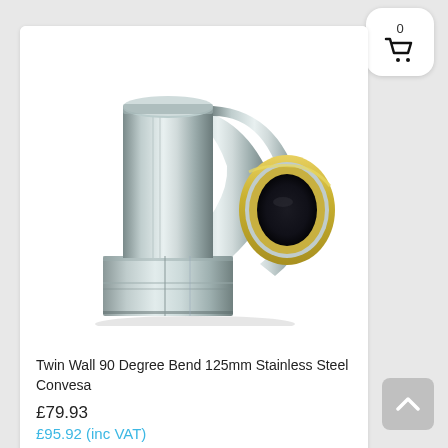[Figure (photo): A stainless steel twin wall 90 degree elbow/bend pipe fitting with yellow insulation ring visible at the open end, shown on white background.]
Twin Wall 90 Degree Bend 125mm Stainless Steel Convesa
£79.93
£95.92 (inc VAT)
Privacy & Cookies Policy